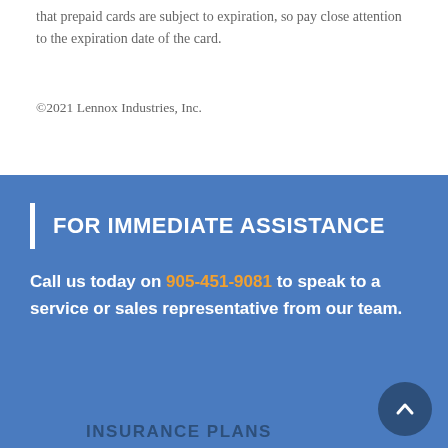that prepaid cards are subject to expiration, so pay close attention to the expiration date of the card.
©2021 Lennox Industries, Inc.
FOR IMMEDIATE ASSISTANCE
Call us today on 905-451-9081 to speak to a service or sales representative from our team.
INSURANCE PLANS